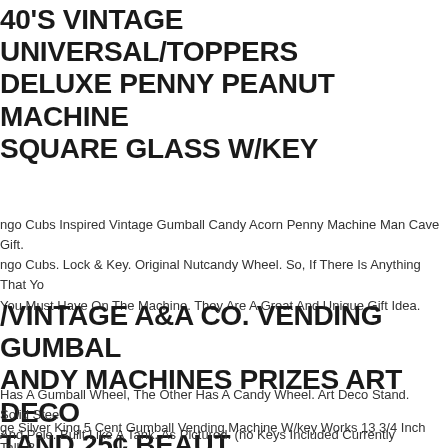40'S VINTAGE UNIVERSAL/TOPPERS DELUXE PENNY PEANUT MACHINE SQUARE GLASS W/KEY
ngo Cubs Inspired Vintage Gumball Candy Acorn Penny Machine Man Cave Gift. ngo Cubs. Lock & Key. Original Nutcandy Wheel. So, If There Is Anything That You You Must Have On The Machine. They Are A Great And Unique Gift Idea.
/VINTAGE A&A CO. VENDING GUMBALL ANDY MACHINES PRIZES ART DECO TAND 25¢ BEAUT
Has A Gumball Wheel, The Other Has A Candy Wheel. Art Deco Stand. Solid Steel And Pole. Built Like A Tank. As Pictured. (no Keys Included Currently Locked).
ge Silver King 5 Cent Gumball Vending Machine W/key Works 13 3/4 Inch Tall. B ne, Top Is Silver.